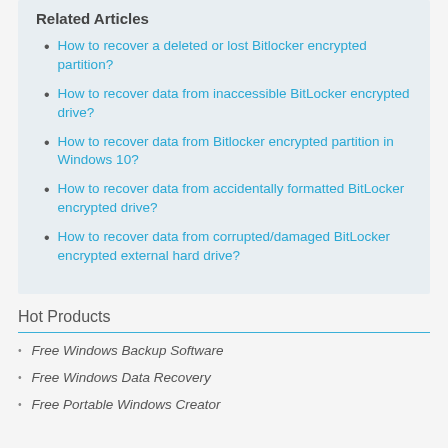Related Articles
How to recover a deleted or lost Bitlocker encrypted partition?
How to recover data from inaccessible BitLocker encrypted drive?
How to recover data from Bitlocker encrypted partition in Windows 10?
How to recover data from accidentally formatted BitLocker encrypted drive?
How to recover data from corrupted/damaged BitLocker encrypted external hard drive?
Hot Products
Free Windows Backup Software
Free Windows Data Recovery
Free Portable Windows Creator